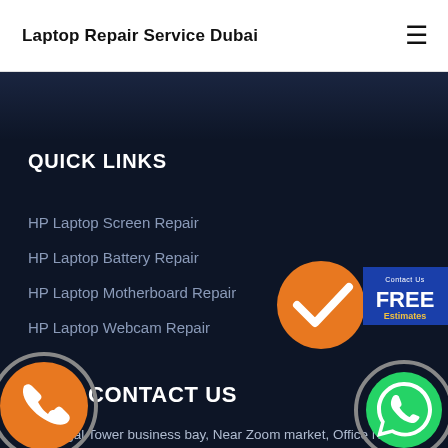Laptop Repair Service Dubai
QUICK LINKS
HP Laptop Screen Repair
HP Laptop Battery Repair
HP Laptop Motherboard Repair
HP Laptop Webcam Repair
[Figure (infographic): Orange circle with white checkmark and blue banner showing Contact Us FREE Estimates]
CONTACT US
[Figure (infographic): Orange phone icon in circular grey border]
[Figure (infographic): WhatsApp icon in green circle with grey border]
The Regal Tower business bay, Near Zoom market, Office Number